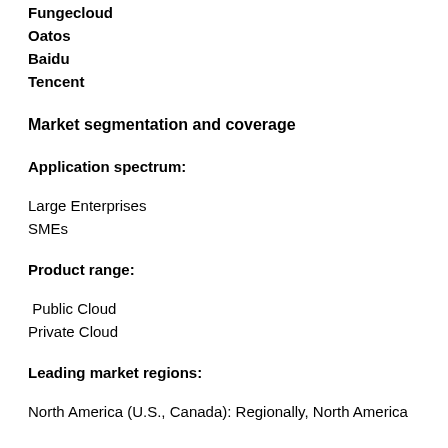Fungecloud
Oatos
Baidu
Tencent
Market segmentation and coverage
Application spectrum:
Large Enterprises
SMEs
Product range:
Public Cloud
Private Cloud
Leading market regions:
North America (U.S., Canada): Regionally, North America